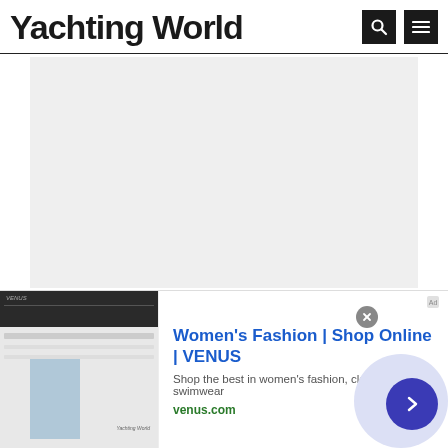Yachting World
[Figure (other): Large light grey content placeholder area below the Yachting World navigation header]
[Figure (screenshot): Advertisement banner: Women's Fashion | Shop Online | VENUS. Shows a thumbnail of a fashion website on the left, ad text in the center, and a circular arrow button on the right. URL: venus.com]